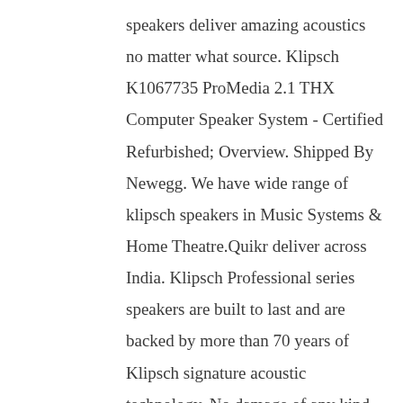speakers deliver amazing acoustics no matter what source. Klipsch K1067735 ProMedia 2.1 THX Computer Speaker System - Certified Refurbished; Overview. Shipped By Newegg. We have wide range of klipsch speakers in Music Systems & Home Theatre.Quikr deliver across India. Klipsch Professional series speakers are built to last and are backed by more than 70 years of Klipsch signature acoustic technology. No damage of any kind. ON OFF. But, don't wait - inventory is limited while supplies last. KLIPSCH (Refurbished) Klipsch Refurbished Home Theater Speaker